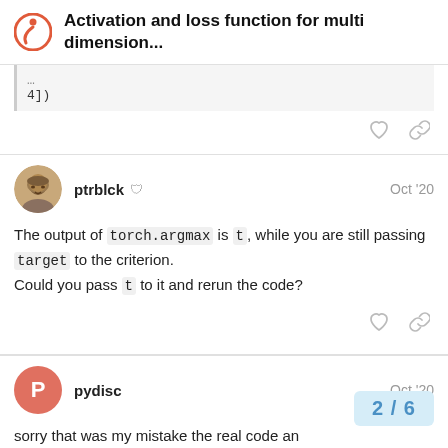Activation and loss function for multi dimension...
4])
ptrblck  Oct '20
The output of torch.argmax is t, while you are still passing target to the criterion.
Could you pass t to it and rerun the code?
pydisc  Oct '20
sorry that was my mistake the real code an
2 / 6